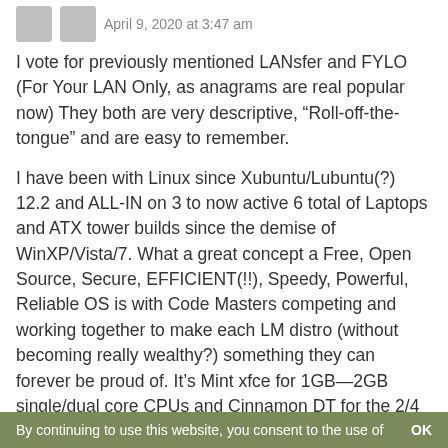April 9, 2020 at 3:47 am
I vote for previously mentioned LANsfer and FYLO (For Your LAN Only, as anagrams are real popular now) They both are very descriptive, “Roll-off-the-tongue” and are easy to remember.
I have been with Linux since Xubuntu/Lubuntu(?) 12.2 and ALL-IN on 3 to now active 6 total of Laptops and ATX tower builds since the demise of WinXP/Vista/7. What a great concept a Free, Open Source, Secure, EFFICIENT(!!), Speedy, Powerful, Reliable OS is with Code Masters competing and working together to make each LM distro (without becoming really wealthy?) something they can forever be proud of. It’s Mint xfce for 1GB—2GB single/dual core CPUs and Cinnamon DT for the 2/4 core 4GB—16GB SSD builds. Using FireFox on a hand-me-down (MS-Vista) Dell
By continuing to use this website, you consent to the use of   OK